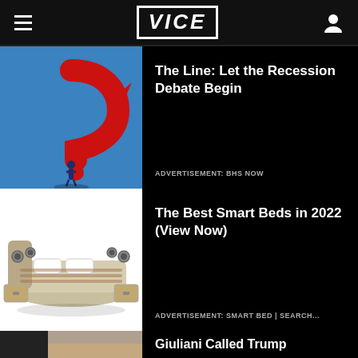VICE
The Line: Let the Recession Debate Begin
ADVERTISEMENT: BHS NOW
[Figure (illustration): Red question mark shaped as an arrow with a small human figure standing below it, on a blue background]
The Best Smart Beds in 2022 (View Now)
ADVERTISEMENT: SMART BED | SEARCH...
[Figure (photo): A modern smart bed with beige upholstery, multiple gadgets and drawers attached, on a white background]
Giuliani Called Trump